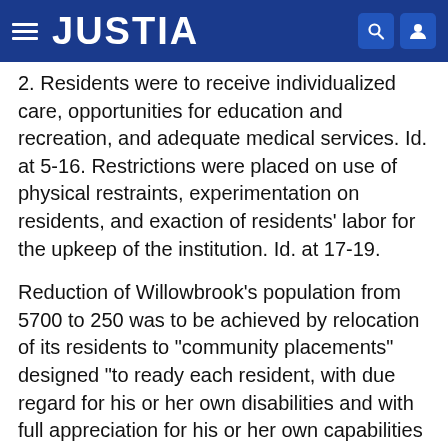JUSTIA
2. Residents were to receive individualized care, opportunities for education and recreation, and adequate medical services. Id. at 5-16. Restrictions were placed on use of physical restraints, experimentation on residents, and exaction of residents' labor for the upkeep of the institution. Id. at 17-19.
Reduction of Willowbrook's population from 5700 to 250 was to be achieved by relocation of its residents to "community placements" designed "to ready each resident, with due regard for his or her own disabilities and with full appreciation for his or her own capabilities for development, for life in the community at large." Id. at 28. A "community placement" was defined in the Consent Judgment as
a non-institutional residence in the community in a hostel, halfway house, group home, foster care home, or